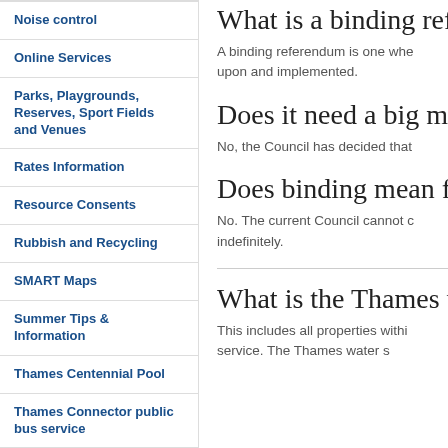Noise control
Online Services
Parks, Playgrounds, Reserves, Sport Fields and Venues
Rates Information
Resource Consents
Rubbish and Recycling
SMART Maps
Summer Tips & Information
Thames Centennial Pool
Thames Connector public bus service
Transport, Roads and
What is a binding refer
A binding referendum is one whe upon and implemented.
Does it need a big majo
No, the Council has decided that
Does binding mean for
No. The current Council cannot c indefinitely.
What is the Thames wa
This includes all properties withi service. The Thames water s